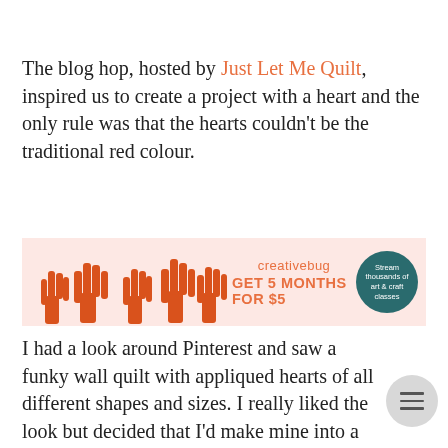The blog hop, hosted by Just Let Me Quilt, inspired us to create a project with a heart and the only rule was that the hearts couldn't be the traditional red colour.
[Figure (illustration): Creativebug advertisement banner with orange hand illustrations on a pink background. Text reads 'creativebug GET 5 MONTHS FOR $5' with a teal circle saying 'Stream thousands of art & craft classes'.]
I had a look around Pinterest and saw a funky wall quilt with appliqued hearts of all different shapes and sizes. I really liked the look but decided that I'd make mine into a great big cushion as it's more practical.